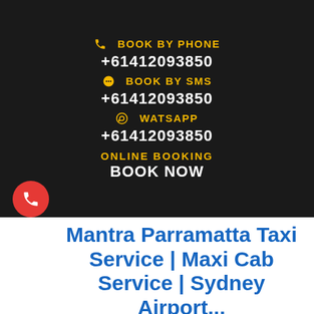BOOK BY PHONE
+61412093850
BOOK BY SMS
+61412093850
WATSAPP
+61412093850
ONLINE BOOKING
BOOK NOW
Mantra Parramatta Taxi Service | Maxi Cab Service | Sydney Airport...